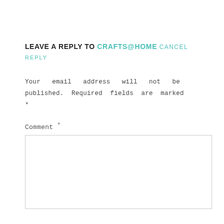LEAVE A REPLY TO CRAFTS@HOME CANCEL REPLY
Your email address will not be published. Required fields are marked *
Comment *